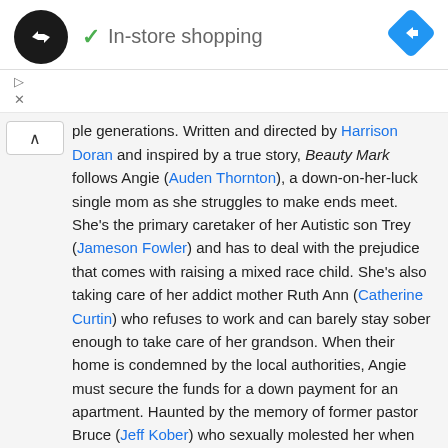[Figure (logo): Black circular logo with two overlapping arrows/chevrons in white, next to 'In-store shopping' text with green checkmark, and a blue diamond navigation icon on the right]
ple generations. Written and directed by Harrison Doran and inspired by a true story, Beauty Mark follows Angie (Auden Thornton), a down-on-her-luck single mom as she struggles to make ends meet. She’s the primary caretaker of her Autistic son Trey (Jameson Fowler) and has to deal with the prejudice that comes with raising a mixed race child. She’s also taking care of her addict mother Ruth Ann (Catherine Curtin) who refuses to work and can barely stay sober enough to take care of her grandson. When their home is condemned by the local authorities, Angie must secure the funds for a down payment for an apartment. Haunted by the memory of former pastor Bruce (Jeff Kober) who sexually molested her when she was 5 years old, she fights back hoping that suing him help her get the money she needs to keep her family off the streets. She reaches out to other victims but when faced with a system that